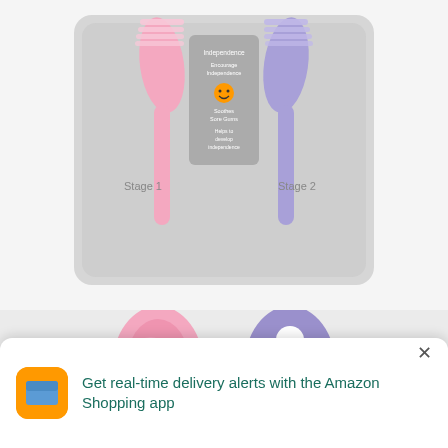[Figure (photo): Top portion of a baby toothbrush set in gray packaging showing two toothbrushes — pink (Stage 1) on the left and blue/purple (Stage 2) on the right — with product text in the center including 'Independence', 'Encourage Independence', an orange face icon, 'Soothes Sore Gums', and 'Helps to develop independence'.]
[Figure (photo): Close-up of two baby toothbrush heads: a pink one on the left with raised textured bristle pattern, and a purple one on the right with a cutout tree/clover-shaped silicone pattern. Both have white handles visible at the bottom.]
Get real-time delivery alerts with the Amazon Shopping app